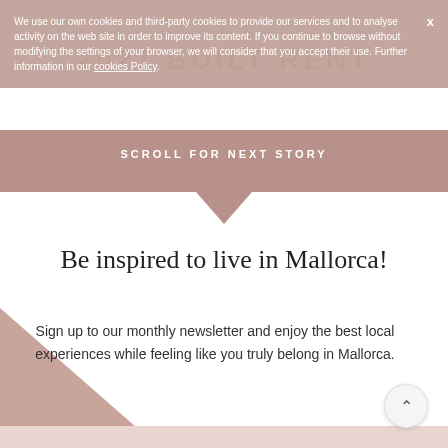We use our own cookies and third-party cookies to provide our services and to analyse activity on the web site in order to improve its content. If you continue to browse without modifying the settings of your browser, we will consider that you accept their use. Further information in our cookies Policy.
SCROLL FOR NEXT STORY
Be inspired to live in Mallorca!
Sign up to our monthly newsletter and enjoy the best local experiences while feeling like you truly belong in Mallorca.